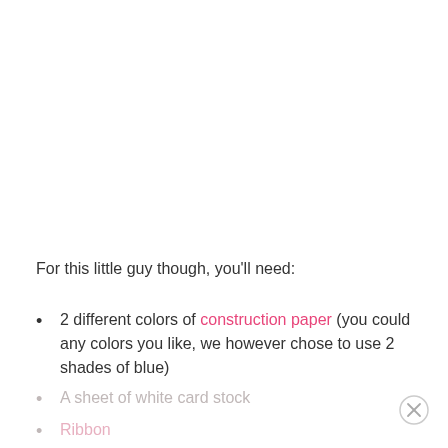For this little guy though, you'll need:
2 different colors of construction paper (you could any colors you like, we however chose to use 2 shades of blue)
A sheet of white card stock
Ribbon